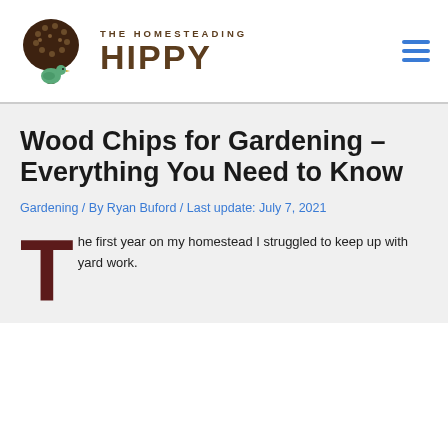THE HOMESTEADING HIPPY
Wood Chips for Gardening – Everything You Need to Know
Gardening / By Ryan Buford / Last update: July 7, 2021
The first year on my homestead I struggled to keep up with yard work.